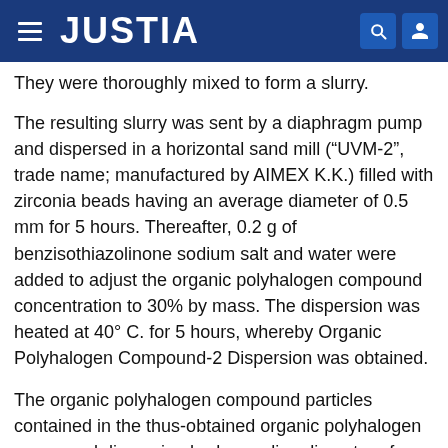JUSTIA
They were thoroughly mixed to form a slurry.
The resulting slurry was sent by a diaphragm pump and dispersed in a horizontal sand mill (“UVM-2”, trade name; manufactured by AIMEX K.K.) filled with zirconia beads having an average diameter of 0.5 mm for 5 hours. Thereafter, 0.2 g of benzisothiazolinone sodium salt and water were added to adjust the organic polyhalogen compound concentration to 30% by mass. The dispersion was heated at 40° C. for 5 hours, whereby Organic Polyhalogen Compound-2 Dispersion was obtained.
The organic polyhalogen compound particles contained in the thus-obtained organic polyhalogen compound dispersion had a median diameter of 0.40 μm and a maximum particle size of 1.3 μm or less. The resulting organic polyhalogen compound dispersion was filtered